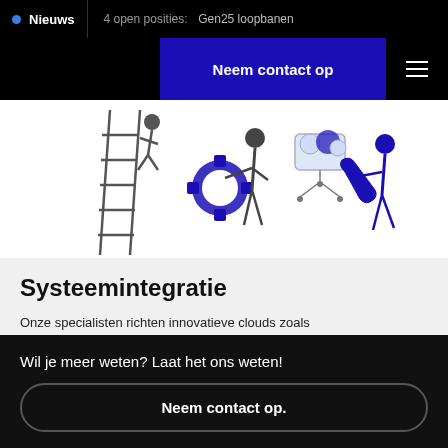Nieuws   4 open posities:   Gen25 loopbanen
[Figure (illustration): Website navigation header with 'Neem contact op' blue button and hamburger menu icon on black background]
[Figure (illustration): Illustration of people working on system integration: person on ladder, people with gears, cloud, and wrench icons on white background]
Systeemintegratie
Onze specialisten richten innovatieve clouds zoals Salesforce en AWS en andere...
Wil je meer weten? Laat het ons weten!
Neem contact op.